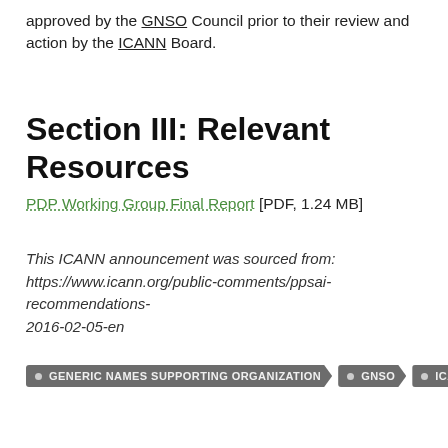approved by the GNSO Council prior to their review and action by the ICANN Board.
Section III: Relevant Resources
PDP Working Group Final Report [PDF, 1.24 MB]
This ICANN announcement was sourced from: https://www.icann.org/public-comments/ppsai-recommendations-2016-02-05-en
GENERIC NAMES SUPPORTING ORGANIZATION
GNSO
ICANN